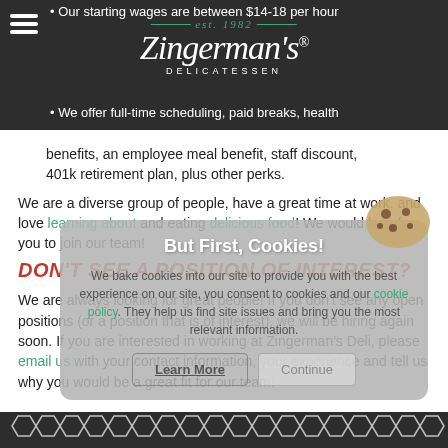Zingerman's Delicatessen — est. 1982
Our starting wages are between $14-18 per hour including tips.
We offer full-time scheduling, paid breaks, health benefits, an employee meal benefit, staff discount, 401k retirement plan, plus other perks.
We are a diverse group of people, have a great time at work, and love learning about and eating delicious food! We would love for you to join our team!
DON'T SEE A POSITION OF INTEREST?
We are always looking for great people! If you don't see any open positions (or a position that is of interest), we will be hiring again soon. If you are interested in working at Zingerman's Deli, please email us with your contact information, your experience and tell us why you would be a great fit for our team!
But First, Cookies! We bake cookies into our site to provide you with the best experience on our site, you consent to cookies and our cookie policy. They help us find site issues and bring you the most relevant information.